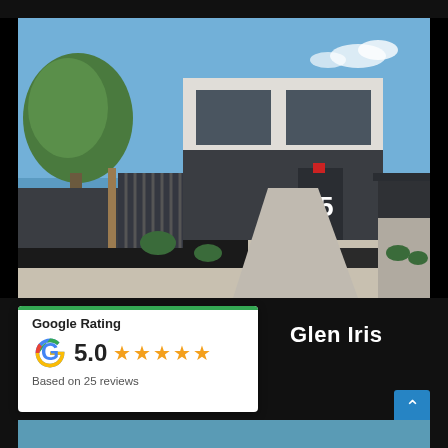[Figure (photo): Modern two-storey dark grey brick house with number 55 on the facade, black metal fence, lush garden landscaping, blue sky background.]
Google Rating
5.0 ★★★★★
Based on 25 reviews
Glen Iris